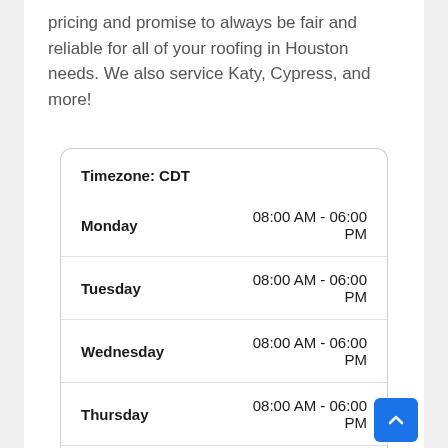pricing and promise to always be fair and reliable for all of your roofing in Houston needs. We also service Katy, Cypress, and more!
| Day | Hours |
| --- | --- |
| Monday | 08:00 AM - 06:00 PM |
| Tuesday | 08:00 AM - 06:00 PM |
| Wednesday | 08:00 AM - 06:00 PM |
| Thursday | 08:00 AM - 06:00 PM |
| Friday | 08:00 AM - 06:00 PM |
| Saturday | 08:00 AM - 06:00 PM |
| Sunday | 08:00 AM - 06:00 PM |